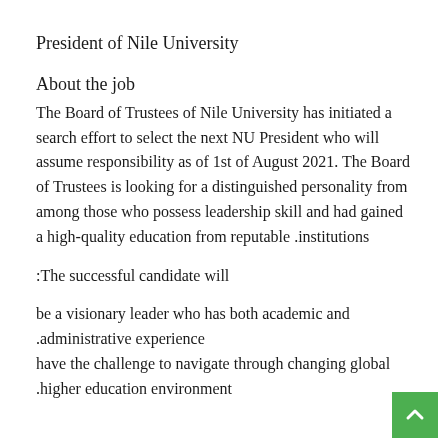President of Nile University
About the job
The Board of Trustees of Nile University has initiated a search effort to select the next NU President who will assume responsibility as of 1st of August 2021. The Board of Trustees is looking for a distinguished personality from among those who possess leadership skill and had gained a high-quality education from reputable institutions.
The successful candidate will:
be a visionary leader who has both academic and administrative experience.
have the challenge to navigate through changing global higher education environment.